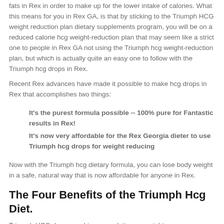fats in Rex in order to make up for the lower intake of calories. What this means for you in Rex GA, is that by sticking to the Triumph HCG weight reduction plan dietary supplements program, you will be on a reduced calorie hcg weight-reduction plan that may seem like a strict one to people in Rex GA not using the Triumph hcg weight-reduction plan, but which is actually quite an easy one to follow with the Triumph hcg drops in Rex.
Recent Rex advances have made it possible to make hcg drops in Rex that accomplishes two things:
It's the purest formula possible -- 100% pure for Fantastic results in Rex!
It's now very affordable for the Rex Georgia dieter to use Triumph hcg drops for weight reducing
Now with the Triumph hcg dietary formula, you can lose body weight in a safe, natural way that is now affordable for anyone in Rex.
The Four Benefits of the Triumph Hcg Diet.
Triumph HCG drops combine a revolutionary weight-